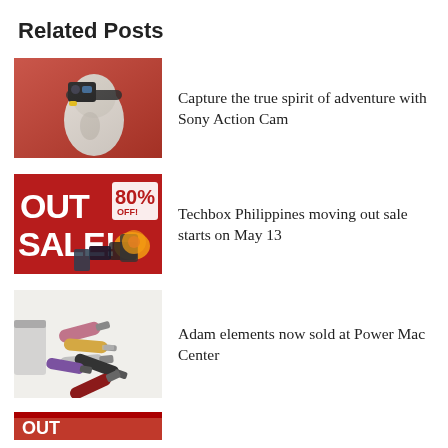Related Posts
[Figure (photo): Person wearing a Sony Action Cam on their head, mannequin head with action camera mounted, red background]
Capture the true spirit of adventure with Sony Action Cam
[Figure (photo): Out sale promotional banner with 80% off text, showing smartphones, cameras, headphones on red background]
Techbox Philippines moving out sale starts on May 13
[Figure (photo): Multiple USB flash drives scattered, various colors including pink, gold, silver, black, red]
Adam elements now sold at Power Mac Center
[Figure (photo): Partial thumbnail of another related post, red/dark image partially visible at bottom]